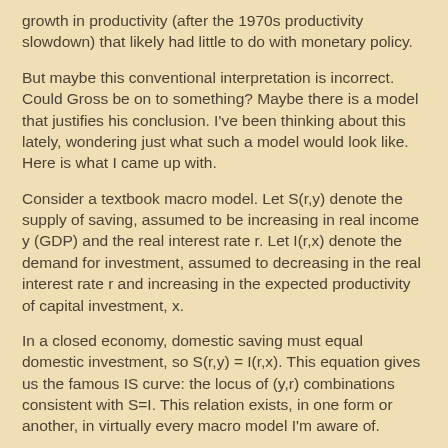growth in productivity (after the 1970s productivity slowdown) that likely had little to do with monetary policy.
But maybe this conventional interpretation is incorrect. Could Gross be on to something? Maybe there is a model that justifies his conclusion. I've been thinking about this lately, wondering just what such a model would look like. Here is what I came up with.
Consider a textbook macro model. Let S(r,y) denote the supply of saving, assumed to be increasing in real income y (GDP) and the real interest rate r. Let I(r,x) denote the demand for investment, assumed to decreasing in the real interest rate r and increasing in the expected productivity of capital investment, x.
In a closed economy, domestic saving must equal domestic investment, so S(r,y) = I(r,x). This equation gives us the famous IS curve: the locus of (y,r) combinations consistent with S=I. This relation exists, in one form or another, in virtually every macro model I'm aware of.